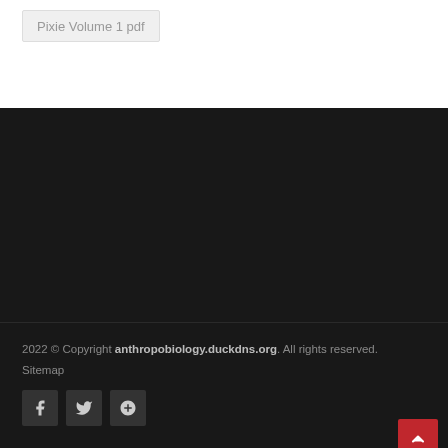Pixie Volume 1 pdf
2022 © Copyright anthropobiology.duckdns.org. All rights reserved.
Sitemap